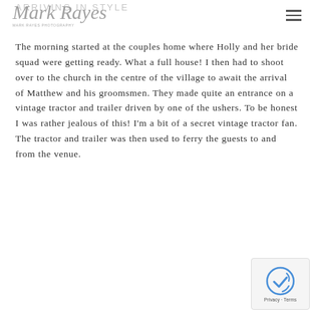ARRIVING IN STYLE — Mark Rayes Photography
The morning started at the couples home where Holly and her bride squad were getting ready. What a full house! I then had to shoot over to the church in the centre of the village to await the arrival of Matthew and his groomsmen. They made quite an entrance on a vintage tractor and trailer driven by one of the ushers. To be honest I was rather jealous of this! I'm a bit of a secret vintage tractor fan. The tractor and trailer was then used to ferry the guests to and from the venue.